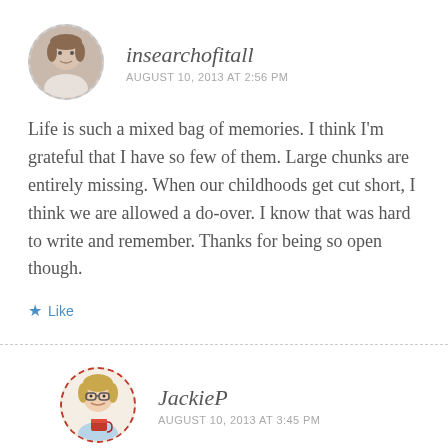[Figure (photo): Circular avatar photo of a woman, bordered by a dashed grey circle]
insearchofitall
AUGUST 10, 2013 AT 2:56 PM
Life is such a mixed bag of memories. I think I'm grateful that I have so few of them. Large chunks are entirely missing. When our childhoods get cut short, I think we are allowed a do-over. I know that was hard to write and remember. Thanks for being so open though.
Like
[Figure (illustration): Circular avatar illustration of a cartoon woman with glasses holding a red cup, bordered by a dashed red circle]
JackieP
AUGUST 10, 2013 AT 3:45 PM